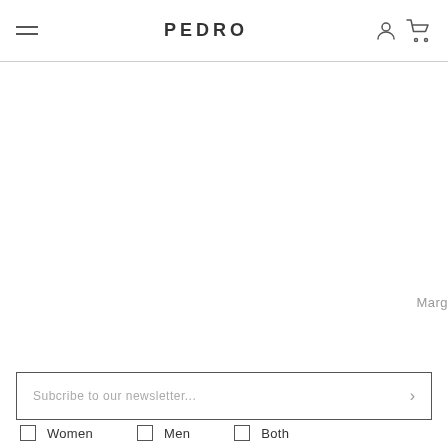PEDRO
Marg
Subcribe to our newsletter...
Women
Men
Both